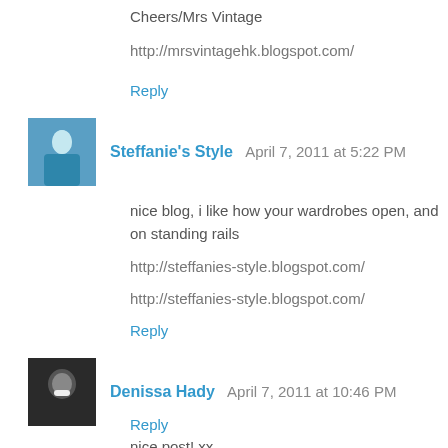Cheers/Mrs Vintage
http://mrsvintagehk.blogspot.com/
Reply
Steffanie's Style  April 7, 2011 at 5:22 PM
nice blog, i like how your wardrobes open, and on standing rails
http://steffanies-style.blogspot.com/
http://steffanies-style.blogspot.com/
Reply
Denissa Hady  April 7, 2011 at 10:46 PM
nice post! xx
Reply